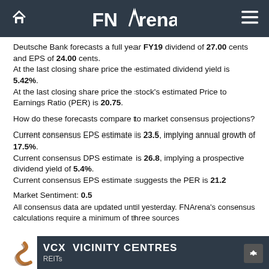FNArena
Deutsche Bank forecasts a full year FY19 dividend of 27.00 cents and EPS of 24.00 cents.
At the last closing share price the estimated dividend yield is 5.42%.
At the last closing share price the stock's estimated Price to Earnings Ratio (PER) is 20.75.
How do these forecasts compare to market consensus projections?
Current consensus EPS estimate is 23.5, implying annual growth of 17.5%.
Current consensus DPS estimate is 26.8, implying a prospective dividend yield of 5.4%.
Current consensus EPS estimate suggests the PER is 21.2
Market Sentiment: 0.5
All consensus data are updated until yesterday. FNArena's consensus calculations require a minimum of three sources
VCX  VICINITY CENTRES  REITs